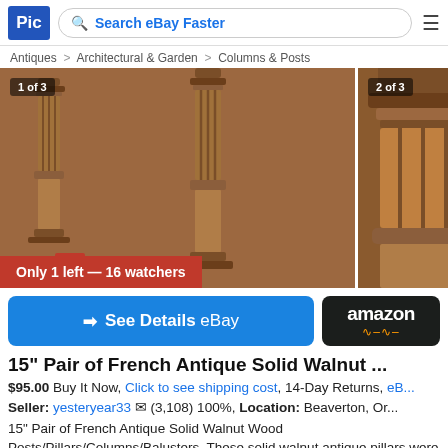Pic | Search eBay Faster
Antiques > Architectural & Garden > Columns & Posts
[Figure (photo): Three-panel image gallery showing antique walnut wood posts/pillars/columns/balusters. Image 1 of 3 shows two wooden pillars on brown background. Image 2 of 3 shows close-up of two pillars. Image 3 of 3 shows pillar base on blue fabric. Banner reads: Only 1 left — 16 watchers]
➜ See Details eBay
amazon
15" Pair of French Antique Solid Walnut ...
$95.00 Buy It Now, Click to see shipping cost, 14-Day Returns, eB...
Seller: yesteryear33 ✉ (3,108) 100%, Location: Beaverton, Or...
15" Pair of French Antique Solid Walnut Wood Posts/Pillars/Columns/Balusters. These solid walnut antique pillars were originally support pillars on a large cabinet. They m ▶ See More